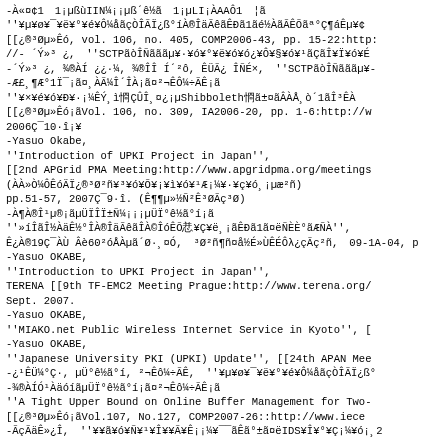Reference list entries with mixed Japanese/encoded characters and bibliographic citations including UPKI Project papers, MIAKO.net, Japanese University PKI, and Buffer Management papers.